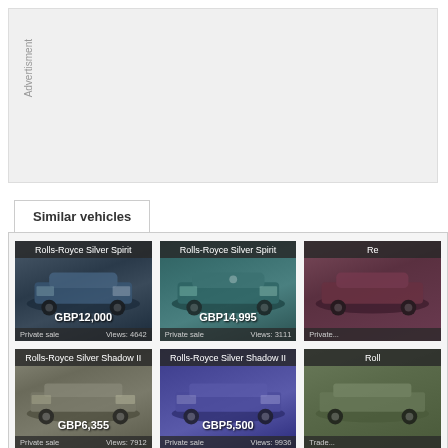[Figure (other): Advertisement placeholder box with vertical 'Advertisment' label text]
Similar vehicles
[Figure (photo): Rolls-Royce Silver Spirit car listing. Price: GBP12,000. Private sale. Views: 4642]
[Figure (photo): Rolls-Royce Silver Spirit car listing. Price: GBP14,995. Private sale. Views: 3111]
[Figure (photo): Rolls-Royce Silver Spirit car listing (partially visible). Private sale.]
[Figure (photo): Rolls-Royce Silver Shadow II car listing. Price: GBP6,355. Private sale. Views: 7912]
[Figure (photo): Rolls-Royce Silver Shadow II car listing. Price: GBP5,500. Private sale. Views: 9936]
[Figure (photo): Rolls-Royce Silver Shadow II car listing (partially visible). Trade sale.]